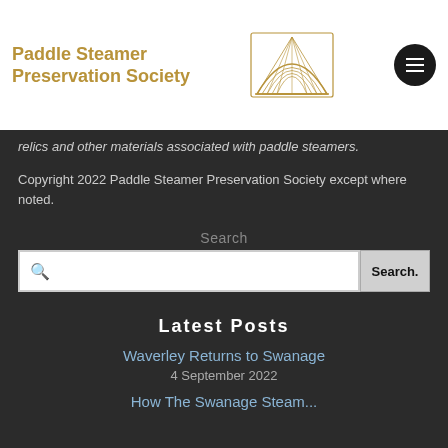Paddle Steamer Preservation Society
relics and other materials associated with paddle steamers.
Copyright 2022 Paddle Steamer Preservation Society except where noted.
Search
Search...
Latest Posts
Waverley Returns to Swanage
4 September 2022
How The Swanage Steam...